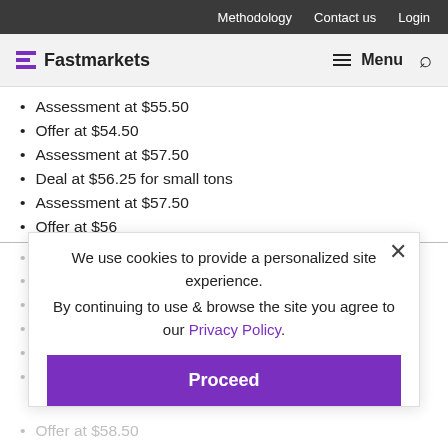Methodology  Contact us  Login
Fastmarkets  Menu
Assessment at $55.50
Offer at $54.50
Assessment at $57.50
Deal at $56.25 for small tons
Assessment at $57.50
Offer at $56
Offer at $58
Assessment at $58
Offer at $58.50
Assessment at $56
Offer at $58.50
We use cookies to provide a personalized site experience.
By continuing to use & browse the site you agree to our Privacy Policy.
Proceed